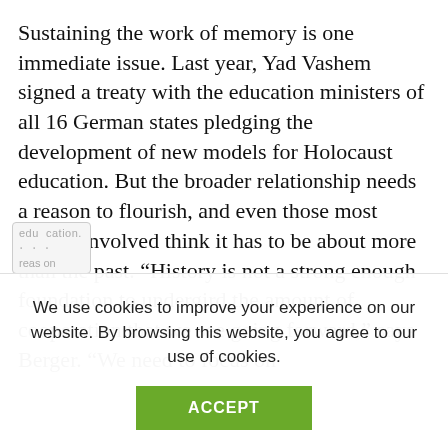Sustaining the work of memory is one immediate issue. Last year, Yad Vashem signed a treaty with the education ministers of all 16 German states pledging the development of new models for Holocaust education. But the broader relationship needs a reason to flourish, and even those most deeply involved think it has to be about more than the past. “History is not a strong enough foundation to undergird the amount of cooperation that we see going forward,” says Berger. “We need to focus on
We use cookies to improve your experience on our website. By browsing this website, you agree to our use of cookies.
ACCEPT